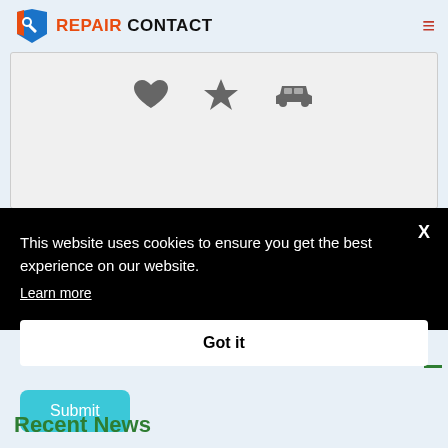[Figure (logo): Repair Contact logo with wrench icon in blue/orange/red, text REPAIR CONTACT in red and black]
[Figure (infographic): Grey background card with three icons: heart, star, car silhouette]
Submit
This website uses cookies to ensure you get the best experience on our website.
Learn more
Got it
Recent News